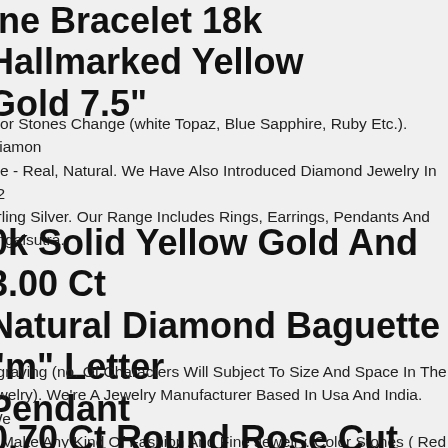ine Bracelet 18k Hallmarked Yellow Gold 7.5"
olor Stones Change (white Topaz, Blue Sapphire, Ruby Etc.). Diamon ipe - Real, Natural. We Have Also Introduced Diamond Jewelry In 92 erling Silver. Our Range Includes Rings, Earrings, Pendants And angalsutra.
0k Solid Yellow Gold And 3.00 Ct Natural Diamond Baguette "m" Letter Pendant
ngraving (no. Of Characters Will Subject To Size And Space In The ewelry). We're A Jewelry Manufacturer Based In Usa And India. We n Make Any Kind Of Fashion And Fine Jewelry. Color Stones ( Red een Yellow Blue Black Etc).
0.70 Ct Round Rose Cut Nat...